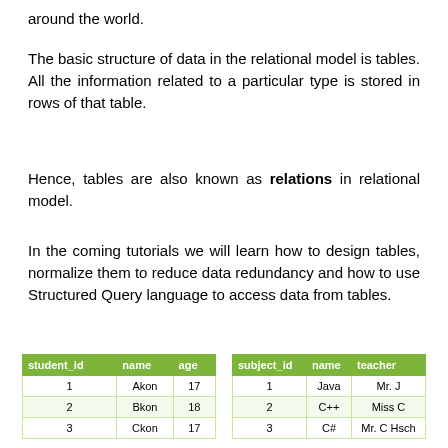around the world.
The basic structure of data in the relational model is tables. All the information related to a particular type is stored in rows of that table.
Hence, tables are also known as relations in relational model.
In the coming tutorials we will learn how to design tables, normalize them to reduce data redundancy and how to use Structured Query language to access data from tables.
| student_id | name | age |
| --- | --- | --- |
| 1 | Akon | 17 |
| 2 | Bkon | 18 |
| 3 | Ckon | 17 |
| subject_id | name | teacher |
| --- | --- | --- |
| 1 | Java | Mr. J |
| 2 | C++ | Miss C |
| 3 | C# | Mr. C Hsch |